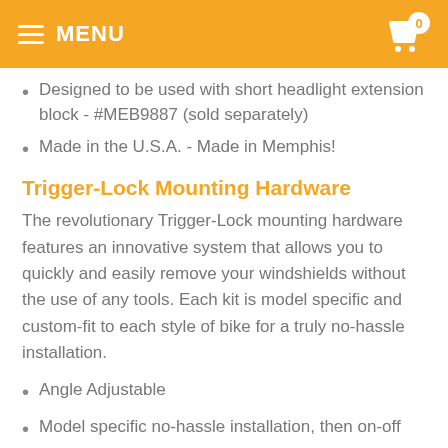MENU
Designed to be used with short headlight extension block - #MEB9887 (sold separately)
Made in the U.S.A. - Made in Memphis!
Trigger-Lock Mounting Hardware
The revolutionary Trigger-Lock mounting hardware features an innovative system that allows you to quickly and easily remove your windshields without the use of any tools. Each kit is model specific and custom-fit to each style of bike for a truly no-hassle installation.
Angle Adjustable
Model specific no-hassle installation, then on-off